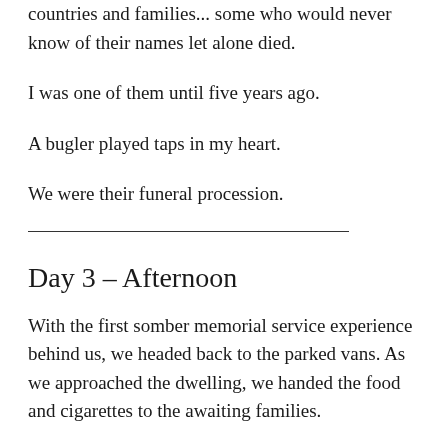countries and families... some who would never know of their names let alone died.
I was one of them until five years ago.
A bugler played taps in my heart.
We were their funeral procession.
Day 3 – Afternoon
With the first somber memorial service experience behind us, we headed back to the parked vans.  As we approached the dwelling, we handed the food and cigarettes to the awaiting families.
The drivers were kind enough to have started the